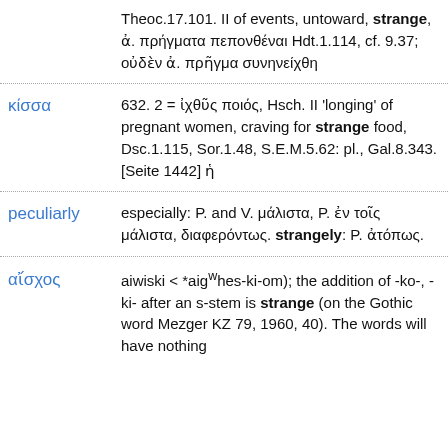Theos.17.101. II of events, untoward, strange, ἀ. πρήγματα πεπονθέναι Hdt.1.114, cf. 9.37; οὐδὲν ἀ. πρῆγμα συνηνείχθη
κίσσα: 632. 2 = ἰχθῦς ποιός, Hsch. II 'longing' of pregnant women, craving for strange food, Dsc.1.115, Sor.1.48, S.E.M.5.62: pl., Gal.8.343. [Seite 1442] ἡ
peculiarly: especially: P. and V. μάλιστα, P. ἐν τοῖς μάλιστα, διαφερόντως. strangely: P. ἀτόπως.
αἴσχος: aiwiski < *aigwhes-ki-om); the addition of -ko-, -ki- after an s-stem is strange (on the Gothic word Mezger KZ 79, 1960, 40). The words will have nothing